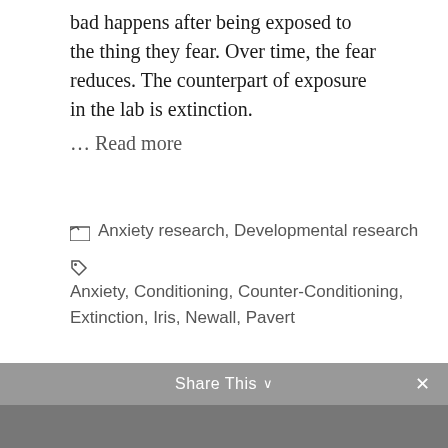bad happens after being exposed to the thing they fear. Over time, the fear reduces. The counterpart of exposure in the lab is extinction.
… Read more
Categories: Anxiety research, Developmental research
Tags: Anxiety, Conditioning, Counter-Conditioning, Extinction, Iris, Newall, Pavert
Avoid when anxious: Avoidance bias in anxious people
September 26, 2017 by Iris van de Pavert
Share This